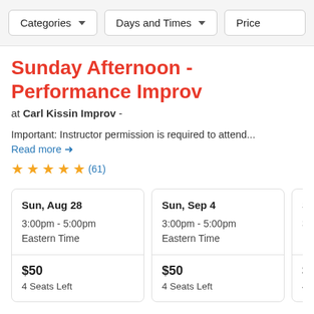Categories | Days and Times | Price
Sunday Afternoon - Performance Improv
at Carl Kissin Improv -
Important: Instructor permission is required to attend...
Read more →
★★★★★ (61)
| Date | Time | Price | Seats |
| --- | --- | --- | --- |
| Sun, Aug 28 | 3:00pm - 5:00pm Eastern Time | $50 | 4 Seats Left |
| Sun, Sep 4 | 3:00pm - 5:00pm Eastern Time | $50 | 4 Seats Left |
| Sun, Sep … | 3:00pm - … Eastern T… | $50 | 4 Seats L… |